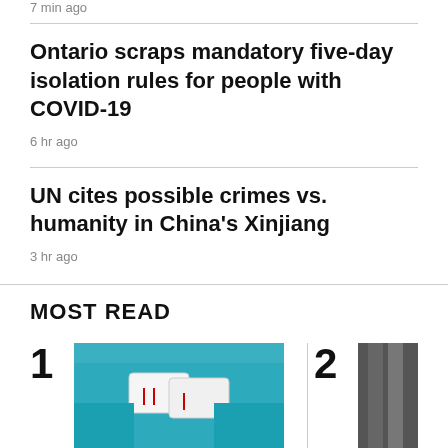7 min ago
Ontario scraps mandatory five-day isolation rules for people with COVID-19
6 hr ago
UN cites possible crimes vs. humanity in China's Xinjiang
3 hr ago
MOST READ
[Figure (photo): Person holding COVID-19 rapid antigen test strips with blue gloves, numbered item 1 in most read list]
[Figure (photo): Partially visible image, numbered item 2 in most read list]